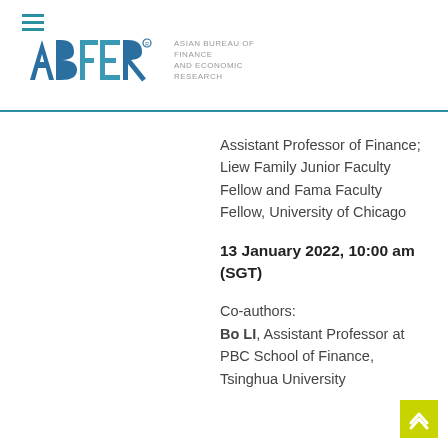[Figure (logo): ABFER logo - Asian Bureau of Finance and Economic Research]
Assistant Professor of Finance; Liew Family Junior Faculty Fellow and Fama Faculty Fellow, University of Chicago
13 January 2022, 10:00 am (SGT)
Co-authors:
Bo LI, Assistant Professor at PBC School of Finance, Tsinghua University